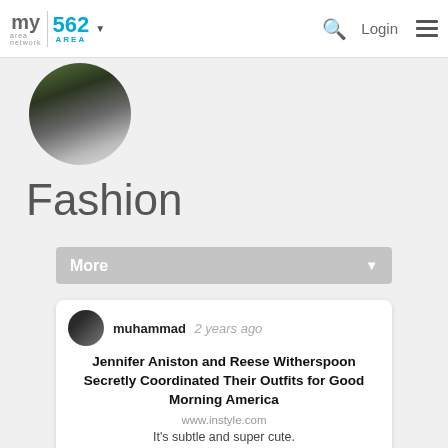my area network | 562 AREA | Login
[Figure (photo): Circular profile photo showing a person in dark clothing with greenery background]
Fashion
More
muhammad 2 years ago
Jennifer Aniston and Reese Witherspoon Secretly Coordinated Their Outfits for Good Morning America
www.instyle.com
It's subtle and super cute.
[Figure (photo): Photo of a woman with blonde hair wearing pink-tinted sunglasses surrounded by a crowd]